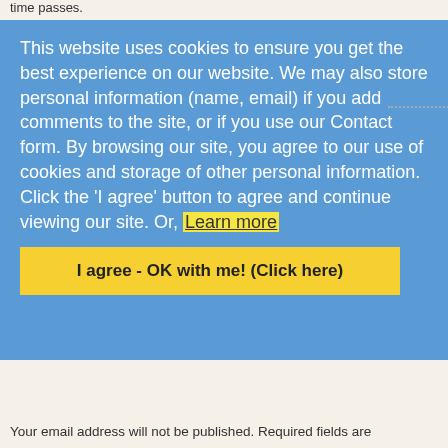time passes.
↵ Reply
Brad Koland
October 11, 2021 at 6:08 am
Thank you for sharing. I am just starting down this path with the recent loss of my brother.
↵ Reply
[Figure (screenshot): Cookie consent overlay with blue background. Text reads: 'This website uses cookies to ensure you get the best experience on our website. We may also store personal information (name, email) if you add comments to the site, or if you use our Contact form. By browsing our site, you agree to our use of cookies and storage of other personal information. Click the I agree button to agree and continue viewing our site. Or, Learn more'. Yellow button at bottom: 'I agree - OK with me! (Click here)']
Leave a Reply to Heather
Your email address will not be published. Required fields are